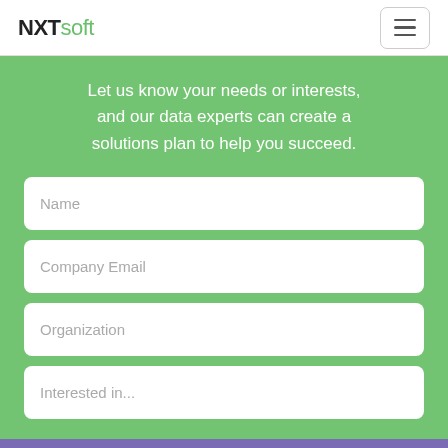NXTsoft
Let us know your needs or interests, and our data experts can create a solutions plan to help you succeed.
Name
Company Email
Organization
Interested in...
Get Our Newsletter!